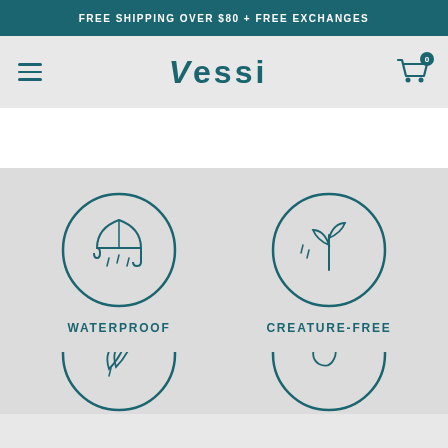FREE SHIPPING OVER $80 + FREE EXCHANGES
[Figure (logo): Vessi brand logo with hamburger menu and cart icon]
[Figure (illustration): Waterproof icon: umbrella with rain drops inside a circle]
WATERPROOF
[Figure (illustration): Creature-free icon: plant sprout with rain drops inside a circle]
CREATURE-FREE
[Figure (illustration): Partial circle icon at bottom left (leaf/feather)]
[Figure (illustration): Partial circle icon at bottom right (swirl/wave)]